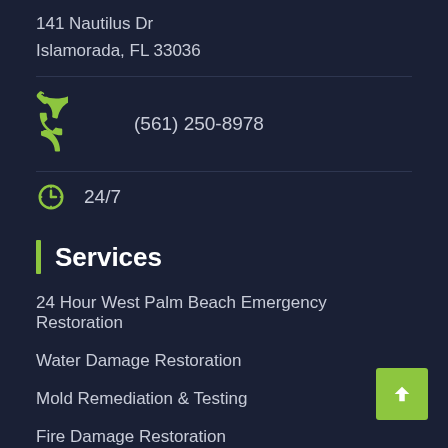141 Nautilus Dr
Islamorada, FL 33036
(561) 250-8978
24/7
Services
24 Hour West Palm Beach Emergency Restoration
Water Damage Restoration
Mold Remediation & Testing
Fire Damage Restoration
Service Areas